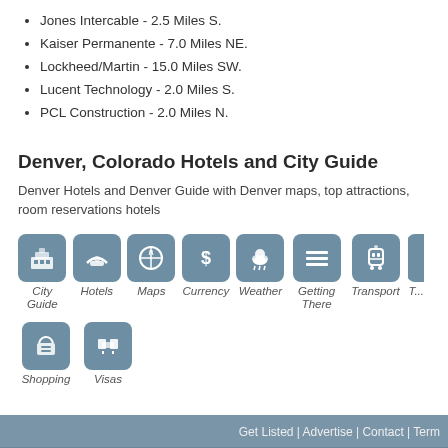Jones Intercable - 2.5 Miles S.
Kaiser Permanente - 7.0 Miles NE.
Lockheed/Martin - 15.0 Miles SW.
Lucent Technology - 2.0 Miles S.
PCL Construction - 2.0 Miles N.
Denver, Colorado Hotels and City Guide
Denver Hotels and Denver Guide with Denver maps, top attractions, room reservations hotels
[Figure (infographic): Grid of city guide icons: City Guide, Hotels, Maps, Currency, Weather, Getting There, Transport, Shopping, Visas]
Get Listed | Advertise | Contact | Term